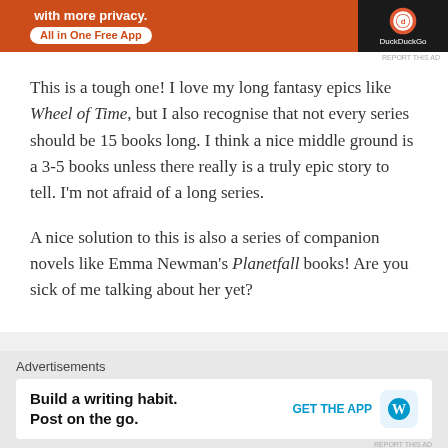[Figure (screenshot): Orange DuckDuckGo advertisement banner at top of page]
This is a tough one!  I love my long fantasy epics like Wheel of Time, but I also recognise that not every series should be 15 books long.  I think a nice middle ground is a 3-5 books unless there really is a truly epic story to tell.  I'm not afraid of a long series.
A nice solution to this is also a series of companion novels like Emma Newman's Planetfall books!  Are you sick of me talking about her yet?
[Figure (screenshot): WordPress 'Build a writing habit. Post on the go.' advertisement at the bottom]